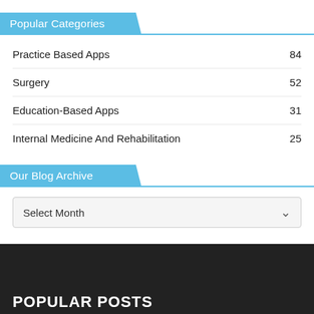Popular Categories
Practice Based Apps   84
Surgery   52
Education-Based Apps   31
Internal Medicine And Rehabilitation   25
Our Blog Archive
Select Month
POPULAR POSTS